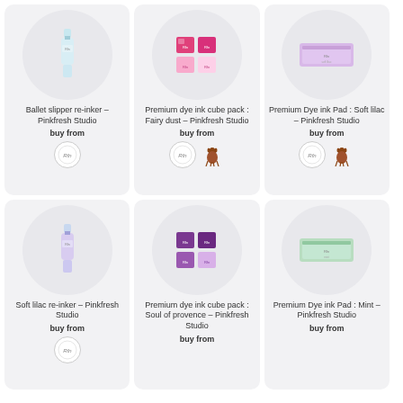[Figure (photo): Ballet slipper re-inker bottle product image in circular frame]
Ballet slipper re-inker – Pinkfresh Studio
buy from
[Figure (logo): Pinkfresh Studio circular logo]
[Figure (photo): Premium dye ink cube pack Fairy dust product image in circular frame]
Premium dye ink cube pack : Fairy dust – Pinkfresh Studio
buy from
[Figure (logo): Pinkfresh Studio circular logo and deer logo]
[Figure (photo): Premium Dye ink Pad Soft lilac product image in circular frame]
Premium Dye ink Pad : Soft lilac – Pinkfresh Studio
buy from
[Figure (logo): Pinkfresh Studio circular logo and deer logo]
[Figure (photo): Soft lilac re-inker bottle product image in circular frame]
Soft lilac re-inker – Pinkfresh Studio
buy from
[Figure (photo): Premium dye ink cube pack Soul of provence product image in circular frame]
Premium dye ink cube pack : Soul of provence – Pinkfresh Studio
buy from
[Figure (photo): Premium Dye ink Pad Mint product image in circular frame]
Premium Dye ink Pad : Mint – Pinkfresh Studio
buy from